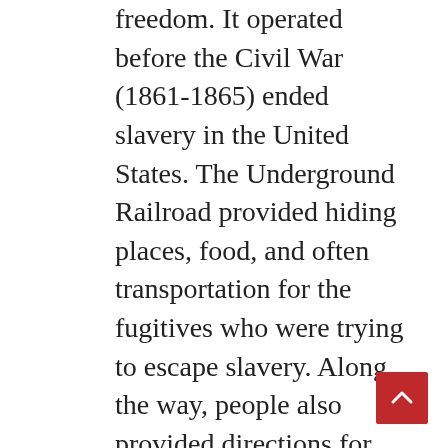freedom. It operated before the Civil War (1861-1865) ended slavery in the United States. The Underground Railroad provided hiding places, food, and often transportation for the fugitives who were trying to escape slavery. Along the way, people also provided directions for the safest way to get further north on the dangerous journey to freedom.Enslaved people escaping North would often stay in “safe houses” to escape capture.These houses were owned by people, both black and white, who were sympathetic to the cause.The people who helped enslaved people escape were called “conductors” or “engineers.” The places along the escape route were called “stations.” Sometimes those escaping were called “passengers.” Sometimes they were called